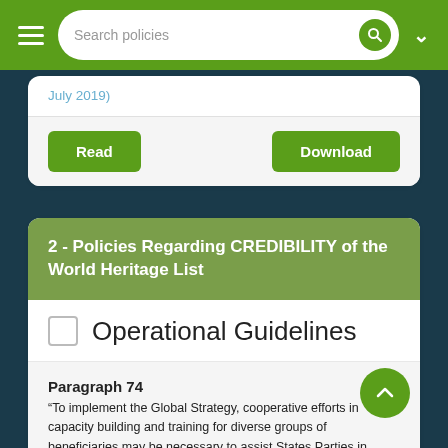Search policies
July 2019)
Read | Download
2 - Policies Regarding CREDIBILITY of the World Heritage List
Operational Guidelines
Paragraph 74
“To implement the Global Strategy, cooperative efforts in capacity building and training for diverse groups of beneficiaries may be necessary to assist States Parties in acquiring and/or consolidating expertise in the preparation, updating and harmonization of their Tentative List and the nomination of properties.”